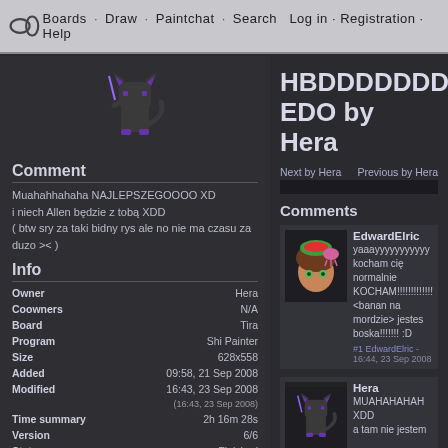Boards · Draw · Paintchat · Search Log in · Registration · Help
[Figure (illustration): Pixel art of a small dark cat/wolf character with purple accents, standing upright]
Comment
Muahahhahaha NAJLEPSZEGOOOO XD
i niech Allen będzie z tobą XDD
( btw sry za taki bidny rys ale no nie ma czasu za duzo >< )
Info
| Field | Value |
| --- | --- |
| Owner | Hera |
| Coowners | N/A |
| Board | Tira |
| Program | Shi Painter |
| Size | 628x558 |
| Added | 09:58, 21 Sep 2008 |
| Modified | 16:43, 23 Sep 2008 |
|  | (16:43, 23 Sep 2008) |
| Time summary | 2h 16m 28s |
| Version | 6/6 |
| Status | Finished |
HBDDDDDDD EDO by Hera
Next by Hera    Previous by Hera
Comments
[Figure (illustration): Pixel art avatar of a girl with brown hair, green eyes, wearing a watermelon slice hat and pink octopus hair clip]
EdwardElric
yaaayyyyyyyyyyy kocham cię normalnie KOCHAM!!!!!!!!!!!!!! <banan na mordzie> jestes boska!!!!!!! :D
#1 EdwardElric - 16:44, 23 Sep 2008
[Figure (illustration): Pixel art of a dark cat/wolf character with purple accents similar to the left column avatar]
Hera
MUAHAHAHAH XDD
a tam nie jestem